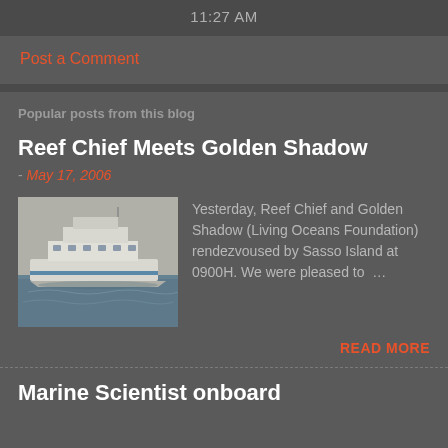11:27 AM
Post a Comment
Popular posts from this blog
Reef Chief Meets Golden Shadow
- May 17, 2006
[Figure (photo): A large white ship/yacht at sea with blue water]
Yesterday, Reef Chief and Golden Shadow (Living Oceans Foundation) rendezvoused by Sasso Island at 0900H. We were pleased to ...
READ MORE
Marine Scientist onboard